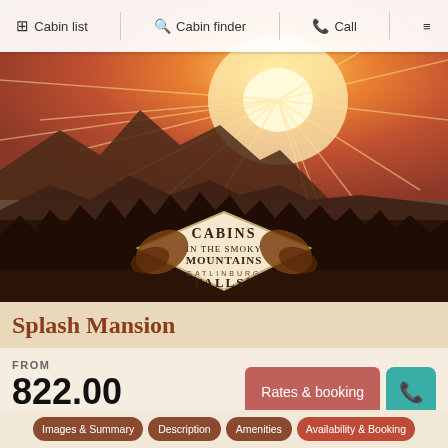Cabin list  Cabin finder  Call
[Figure (photo): Scenic mountain sunset landscape with Cabins in the Smoky Mountains / Gatlinburg Falls logo overlay]
Splash Mansion
FROM
822.00
per night
[Figure (screenshot): See all photos in a slider! button over purple bokeh/lights photo strip]
Images & Summary
Description
Amenities
Availability & Booking